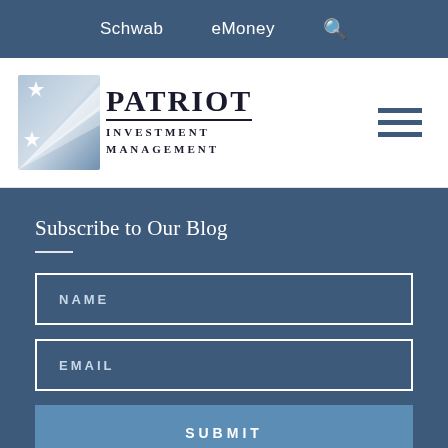Schwab   eMoney   🔍
[Figure (logo): Patriot Investment Management logo with star/flag graphic and serif text reading PATRIOT INVESTMENT MANAGEMENT]
Subscribe to Our Blog
NAME
EMAIL
SUBMIT